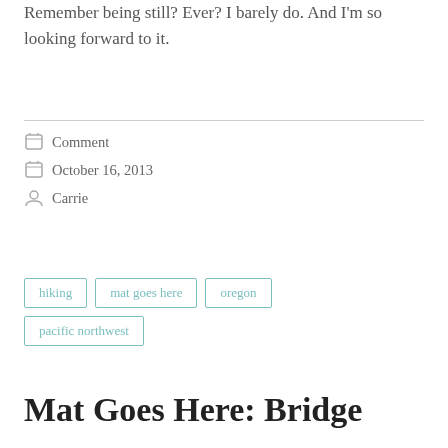Remember being still? Ever? I barely do. And I'm so looking forward to it.
Comment
October 16, 2013
Carrie
hiking
mat goes here
oregon
pacific northwest
Mat Goes Here: Bridge